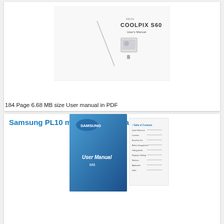[Figure (photo): Nikon COOLPIX S60 user manual cover preview showing camera image and a diagonal line element]
184 Page 6.68 MB size User manual in PDF
Samsung PL10 model Camera Manual
[Figure (photo): Samsung PL10 camera user manual blue cover with table of contents page]
104 Page 2.27 MB size User manual in PDF